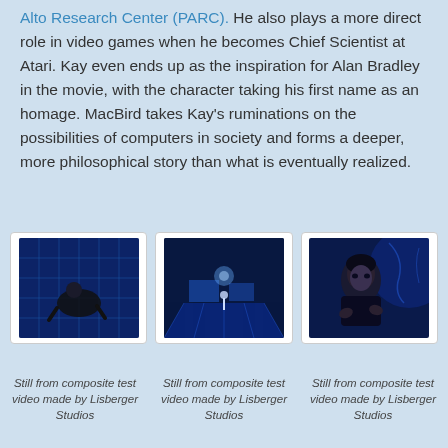Alto Research Center (PARC). He also plays a more direct role in video games when he becomes Chief Scientist at Atari. Kay even ends up as the inspiration for Alan Bradley in the movie, with the character taking his first name as an homage. MacBird takes Kay's ruminations on the possibilities of computers in society and forms a deeper, more philosophical story than what is eventually realized.
[Figure (photo): Still from composite test video made by Lisberger Studios — figure crouching on blue circuit-board floor]
[Figure (photo): Still from composite test video made by Lisberger Studios — figure walking in blue geometric space]
[Figure (photo): Still from composite test video made by Lisberger Studios — man's face in blue environment]
Still from composite test video made by Lisberger Studios
Still from composite test video made by Lisberger Studios
Still from composite test video made by Lisberger Studios